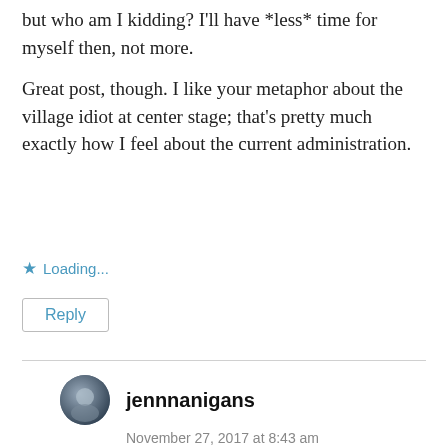but who am I kidding? I'll have *less* time for myself then, not more.
Great post, though. I like your metaphor about the village idiot at center stage; that’s pretty much exactly how I feel about the current administration.
★ Loading...
Reply
jennnanigans
November 27, 2017 at 8:43 am